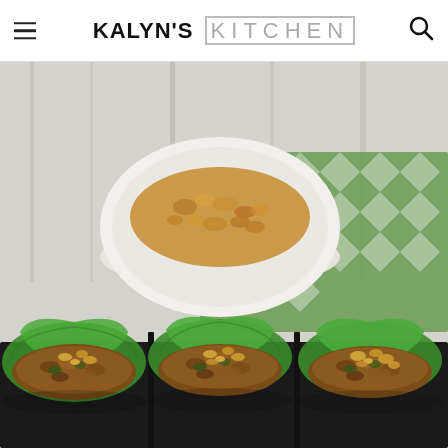KALYN'S KITCHEN
[Figure (photo): Food photo showing lettuce wraps filled with ground meat and topped with chopped peanuts, arranged in a row on a dark surface, with a white bowl of chopped peanuts in the background on a green chevron patterned cloth.]